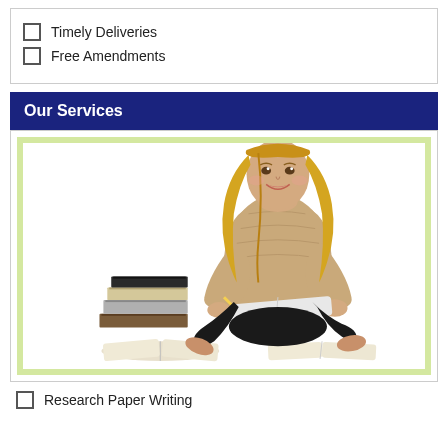Timely Deliveries
Free Amendments
Our Services
[Figure (photo): A smiling blonde female student sitting cross-legged on the floor writing in a notebook with a pencil, surrounded by a stack of books and open books, against a white background.]
Research Paper Writing